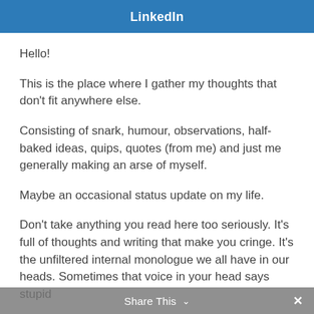LinkedIn
Hello!
This is the place where I gather my thoughts that don't fit anywhere else.
Consisting of snark, humour, observations, half-baked ideas, quips, quotes (from me) and just me generally making an arse of myself.
Maybe an occasional status update on my life.
Don't take anything you read here too seriously. It's full of thoughts and writing that make you cringe. It's the unfiltered internal monologue we all have in our heads. Sometimes that voice in your head says stupid
Share This ∨  ×